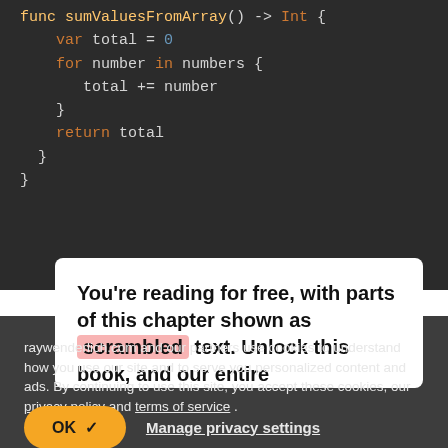[Figure (screenshot): Dark-themed code editor showing Swift/Kotlin-like code snippet with colored syntax highlighting. Lines visible: 'var total = 0', 'for number in numbers {', 'total += number', '}', 'return total', '}', '}']
You're reading for free, with parts of this chapter shown as scrambled text. Unlock this book, and our entire
raywenderlich.com and our partners use cookies to understand how you use our site and to serve you personalized content and ads. By continuing to use this site, you accept these cookies, our privacy policy and terms of service .
OK ✓
Manage privacy settings